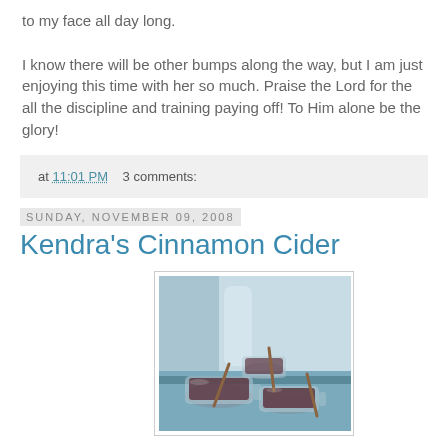to my face all day long. I know there will be other bumps along the way, but I am just enjoying this time with her so much. Praise the Lord for the all the discipline and training paying off! To Him alone be the glory!
at 11:01 PM   3 comments:
Sunday, November 09, 2008
Kendra's Cinnamon Cider
[Figure (photo): Photo of glass mugs filled with dark cinnamon cider, with cinnamon sticks stirrers, on a blue surface]